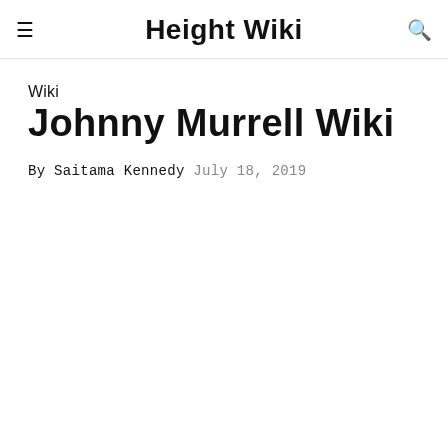Height Wiki
Wiki
Johnny Murrell Wiki
By Saitama Kennedy July 18, 2019